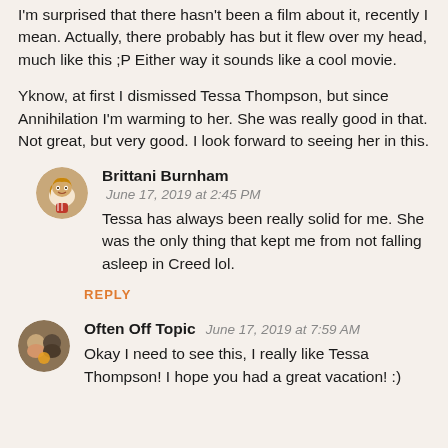I'm surprised that there hasn't been a film about it, recently I mean. Actually, there probably has but it flew over my head, much like this ;P Either way it sounds like a cool movie.
Yknow, at first I dismissed Tessa Thompson, but since Annihilation I'm warming to her. She was really good in that. Not great, but very good. I look forward to seeing her in this.
Brittani Burnham — June 17, 2019 at 2:45 PM — Tessa has always been really solid for me. She was the only thing that kept me from not falling asleep in Creed lol.
REPLY
Often Off Topic — June 17, 2019 at 7:59 AM — Okay I need to see this, I really like Tessa Thompson! I hope you had a great vacation! :)